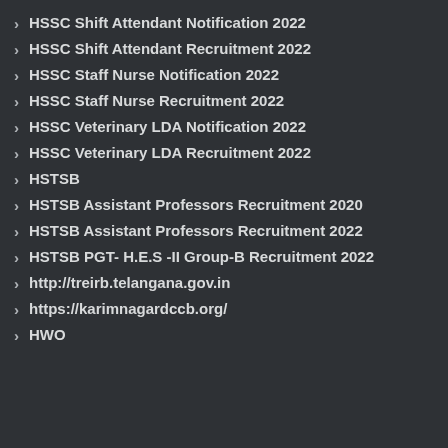HSSC Shift Attendant Notification 2022
HSSC Shift Attendant Recruitment 2022
HSSC Staff Nurse Notification 2022
HSSC Staff Nurse Recruitment 2022
HSSC Veterinary LDA Notification 2022
HSSC Veterinary LDA Recruitment 2022
HSTSB
HSTSB Assistant Professors Recruitment 2020
HSTSB Assistant Professors Recruitment 2022
HSTSB PGT- H.E.S -II Group-B Recruitment 2022
http://treirb.telangana.gov.in
https://karimnagardccb.org/
HWO